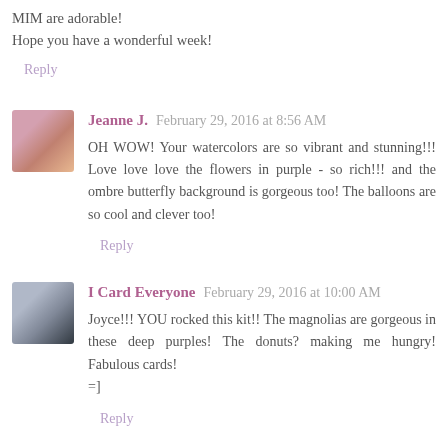MIM are adorable!
Hope you have a wonderful week!
Reply
Jeanne J.  February 29, 2016 at 8:56 AM
OH WOW! Your watercolors are so vibrant and stunning!!! Love love love the flowers in purple - so rich!!! and the ombre butterfly background is gorgeous too! The balloons are so cool and clever too!
Reply
I Card Everyone  February 29, 2016 at 10:00 AM
Joyce!!! YOU rocked this kit!! The magnolias are gorgeous in these deep purples! The donuts? making me hungry! Fabulous cards!
=]
Reply